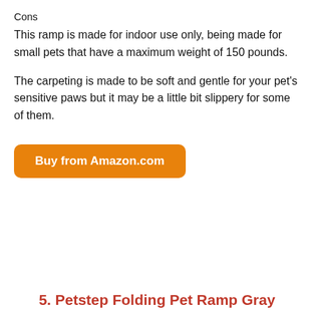Cons
This ramp is made for indoor use only, being made for small pets that have a maximum weight of 150 pounds.
The carpeting is made to be soft and gentle for your pet's sensitive paws but it may be a little bit slippery for some of them.
Buy from Amazon.com
5. Petstep Folding Pet Ramp Gray